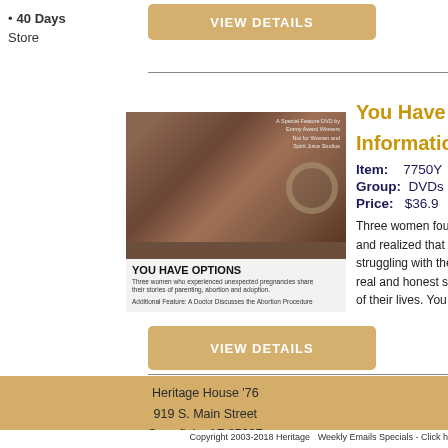40 Days Store
VIEW DETAILS
[Figure (photo): DVD cover for 'You Have Options' featuring a woman with red hair on the cover, with the title YOU HAVE OPTIONS and subtitle text about parenting, abortion and adoption]
You Have Options Information
Item: 7750Y
Group: DVDs
Price: $36.9
Three women found and realized that t struggling with the real and honest st of their lives. You c
VIEW DETAILS
Heritage House '76
919 S. Main Street
Snowflake AZ 85937
Copyright 2003-2018 Heritage
Weekly Emails Specials - Click h